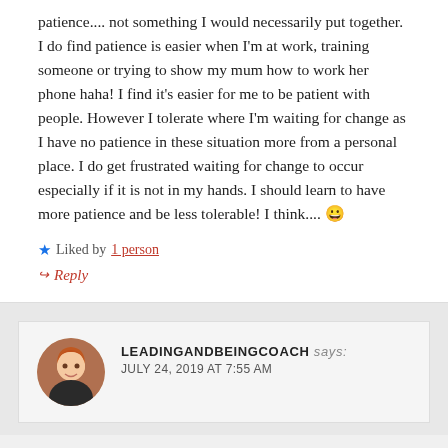patience.... not something I would necessarily put together. I do find patience is easier when I'm at work, training someone or trying to show my mum how to work her phone haha! I find it's easier for me to be patient with people. However I tolerate where I'm waiting for change as I have no patience in these situation more from a personal place. I do get frustrated waiting for change to occur especially if it is not in my hands. I should learn to have more patience and be less tolerable! I think.... 😀
★ Liked by 1 person
↪ Reply
LEADINGANDBEINGCOACH says: JULY 24, 2019 AT 7:55 AM